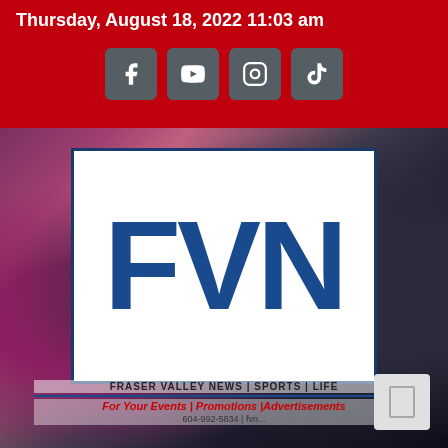Thursday, August 18, 2022 11:03 am
[Figure (logo): Social media icons: Facebook, YouTube, Instagram, TikTok in grey rounded square buttons]
[Figure (logo): FVN logo - large blue letters F V N on white background with blue border. Subtitle: FRASER VALLEY NEWS | SPORTS | LIFE. Tagline: For Your Events | Promotions |Advertisements. Contact: 604-992-5834 | fvn...]
FRASER VALLEY NEWS | SPORTS | LIFE
For Your Events | Promotions |Advertisements
604-992-5834 | fvn...